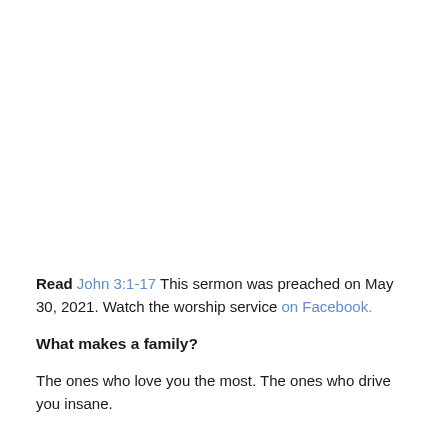Read John 3:1-17 This sermon was preached on May 30, 2021. Watch the worship service on Facebook.
What makes a family?
The ones who love you the most. The ones who drive you insane.